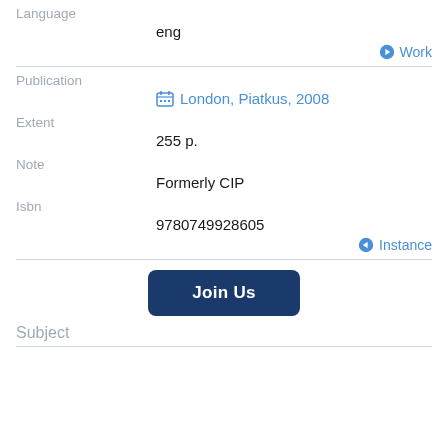Language
eng
Work
Publication
London, Piatkus, 2008
Extent
255 p.
Note
Formerly CIP
Isbn
9780749928605
Instance
Join Us
Subject